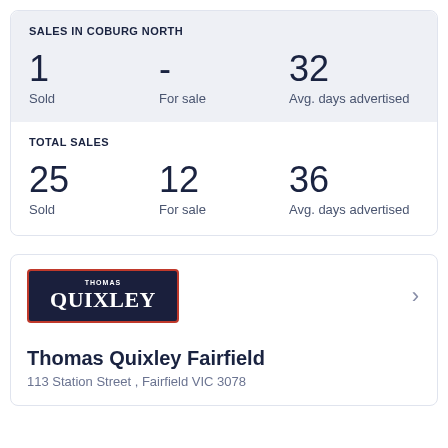SALES IN COBURG NORTH
1 Sold
- For sale
32 Avg. days advertised
TOTAL SALES
25 Sold
12 For sale
36 Avg. days advertised
[Figure (logo): Thomas Quixley real estate agency logo — dark navy background with red border, 'THOMAS' in small caps and 'QUIXLEY' in large serif font, both white]
Thomas Quixley Fairfield
113 Station Street , Fairfield VIC 3078